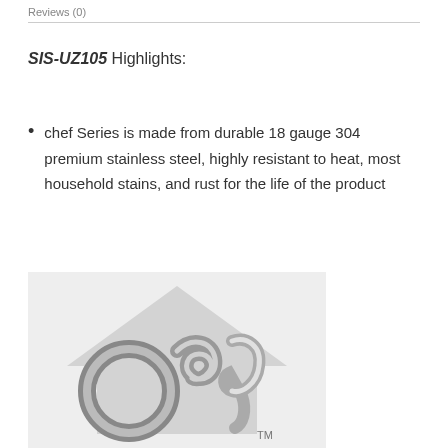Reviews (0)
SIS-UZ105 Highlights:
chef Series is made from durable 18 gauge 304 premium stainless steel, highly resistant to heat, most household stains, and rust for the life of the product
[Figure (logo): Stainless steel brand logo with stylized metallic swirl and diamond/house shape on grey background with TM trademark symbol]